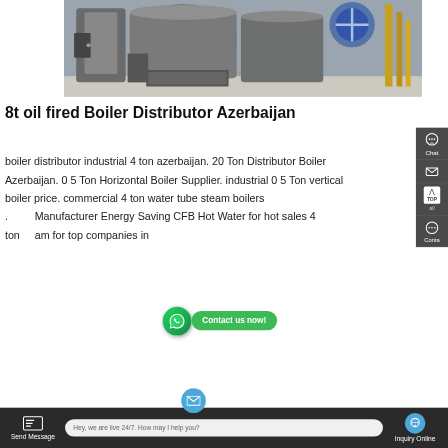[Figure (photo): Industrial oil fired boiler equipment in a factory/warehouse setting. Large cylindrical silver/grey boiler units with yellow gas pipes visible in the background.]
8t oil fired Boiler Distributor Azerbaijan
boiler distributor industrial 4 ton azerbaijan. 20 Ton Distributor Boiler Azerbaijan. 0 5 Ton Horizontal Boiler Supplier. industrial 0 5 Ton vertical boiler price. commercial 4 ton water tube steam boilers . Manufacturer Energy Saving CFB Hot Water for hot sales 4 ton steam for top companies in
Hey, we are live 24/7. How may I help you?
Send Message
Inquiry Online